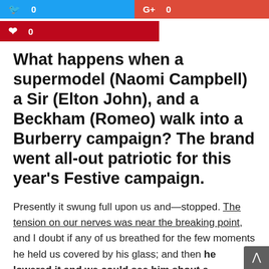[Figure (infographic): Social share buttons: Twitter 0, Google+ 0, Pinterest 0]
What happens when a supermodel (Naomi Campbell) a Sir (Elton John), and a Beckham (Romeo) walk into a Burberry campaign? The brand went all-out patriotic for this year's Festive campaign.
Presently it swung full upon us and—stopped. The tension on our nerves was near the breaking point, and I doubt if any of us breathed for the few moments he held us covered by his glass; and then he lowered it and we could see him shout a command to the warriors who had passed from our sight behind the ridge. He did not wait for them to join him,